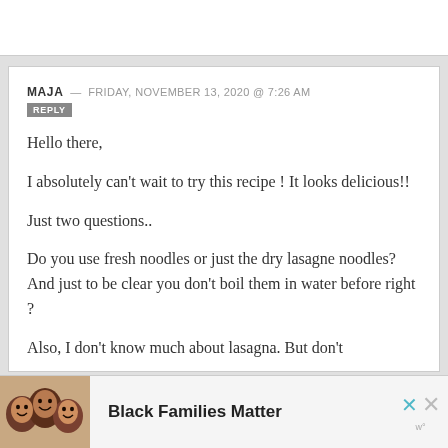MAJA — FRIDAY, NOVEMBER 13, 2020 @ 7:26 AM
REPLY
Hello there,
I absolutely can't wait to try this recipe ! It looks delicious!!
Just two questions..
Do you use fresh noodles or just the dry lasagne noodles? And just to be clear you don't boil them in water before right ?
Also, I don't know much about lasagna. But don't
Black Families Matter